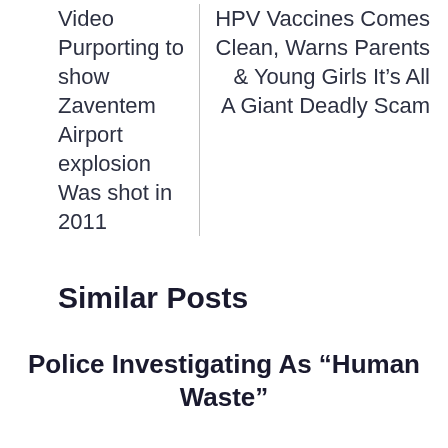Video Purporting to show Zaventem Airport explosion Was shot in 2011
HPV Vaccines Comes Clean, Warns Parents & Young Girls It’s All A Giant Deadly Scam
Similar Posts
Police Investigating As “Human Waste”